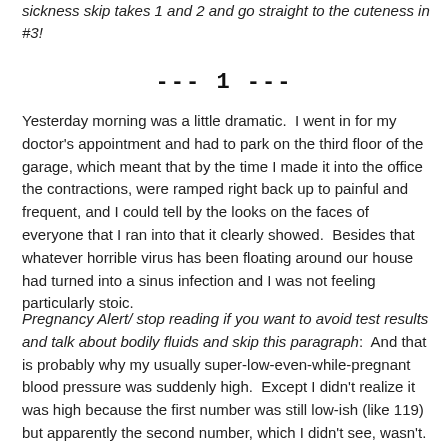sickness skip takes 1 and 2 and go straight to the cuteness in #3!
--- 1 ---
Yesterday morning was a little dramatic.  I went in for my doctor's appointment and had to park on the third floor of the garage, which meant that by the time I made it into the office the contractions, were ramped right back up to painful and frequent, and I could tell by the looks on the faces of everyone that I ran into that it clearly showed.  Besides that whatever horrible virus has been floating around our house had turned into a sinus infection and I was not feeling particularly stoic.
Pregnancy Alert/ stop reading if you want to avoid test results and talk about bodily fluids and skip this paragraph:  And that is probably why my usually super-low-even-while-pregnant blood pressure was suddenly high.  Except I didn't realize it was high because the first number was still low-ish (like 119) but apparently the second number, which I didn't see, wasn't.  And then there was protein in my urine, which